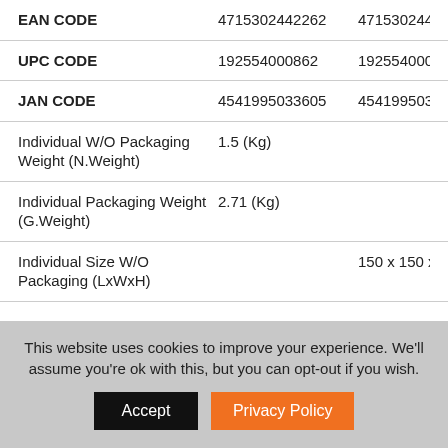|  | Col1 | Col2 |
| --- | --- | --- |
| EAN CODE | 4715302442262 | 4715302442... |
| UPC CODE | 192554000862 | 192554000... |
| JAN CODE | 4541995033605 | 4541995033... |
| Individual W/O Packaging Weight (N.Weight) | 1.5 (Kg) |  |
| Individual Packaging Weight (G.Weight) | 2.71 (Kg) |  |
| Individual Size W/O Packaging (LxWxH) |  | 150 x 150 x 8... |
This website uses cookies to improve your experience. We'll assume you're ok with this, but you can opt-out if you wish.
Accept
Privacy Policy